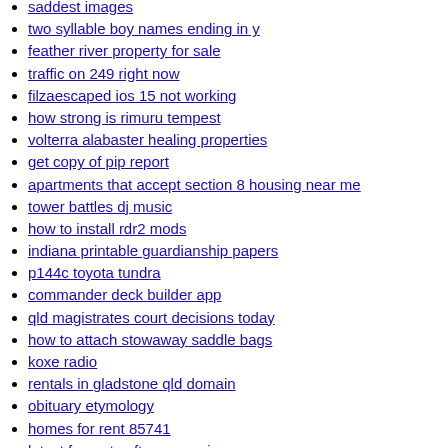saddest images
two syllable boy names ending in y
feather river property for sale
traffic on 249 right now
filzaescaped ios 15 not working
how strong is rimuru tempest
volterra alabaster healing properties
get copy of pip report
apartments that accept section 8 housing near me
tower battles dj music
how to install rdr2 mods
indiana printable guardianship papers
p144c toyota tundra
commander deck builder app
qld magistrates court decisions today
how to attach stowaway saddle bags
koxe radio
rentals in gladstone qld domain
obituary etymology
homes for rent 85741
latest freesat software version
dashboard lights on after changing battery
breaking news palo alto
windows 10 login without password or pin
copart free trial